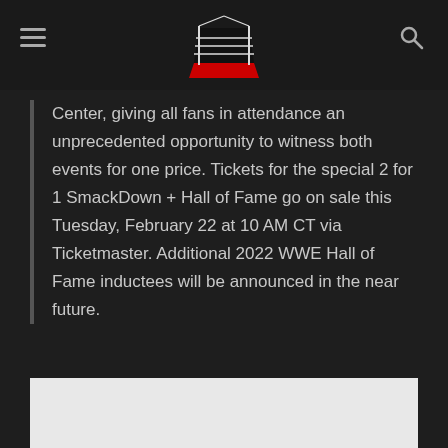Navigation header with hamburger menu, wrestling ring logo, and search icon
Center, giving all fans in attendance an unprecedented opportunity to witness both events for one price. Tickets for the special 2 for 1 SmackDown + Hall of Fame go on sale this Tuesday, February 22 at 10 AM CT via Ticketmaster. Additional 2022 WWE Hall of Fame inductees will be announced in the near future.
[Figure (photo): Partial image/thumbnail visible at bottom of page, light gray background]